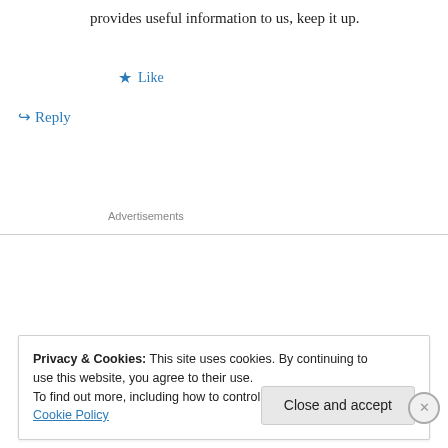provides useful information to us, keep it up.
Like
Reply
Advertisements
christian louboutin items on June 1, 2014 at 8:06 am
I enjoy what you guys are up too. This kind of
Privacy & Cookies: This site uses cookies. By continuing to use this website, you agree to their use.
To find out more, including how to control cookies, see here: Cookie Policy